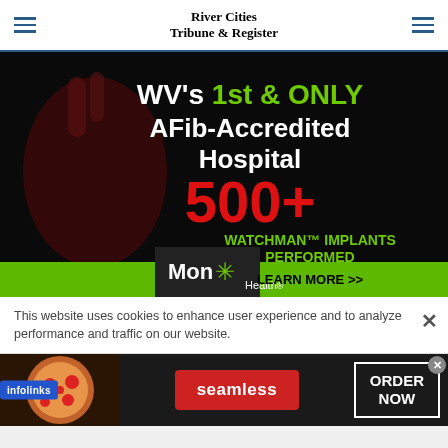River Cities Tribune & Register
[Figure (infographic): Mon Health hospital advertisement: WV's 1st & ONLY AFib-Accredited Hospital, 500+ WATCHMAN™ IMPLANTS PERFORMED, Mon Health logo, LEARN MORE button. Dark background with anatomical heart silhouette.]
This website uses cookies to enhance user experience and to analyze performance and traffic on our website.
[Figure (infographic): Infolinks badge overlay on Seamless food delivery advertisement showing pizza image, seamless logo button, and ORDER NOW box.]